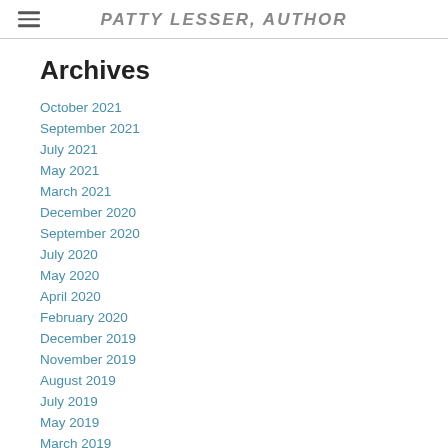Patty Lesser, Author
Archives
October 2021
September 2021
July 2021
May 2021
March 2021
December 2020
September 2020
July 2020
May 2020
April 2020
February 2020
December 2019
November 2019
August 2019
July 2019
May 2019
March 2019